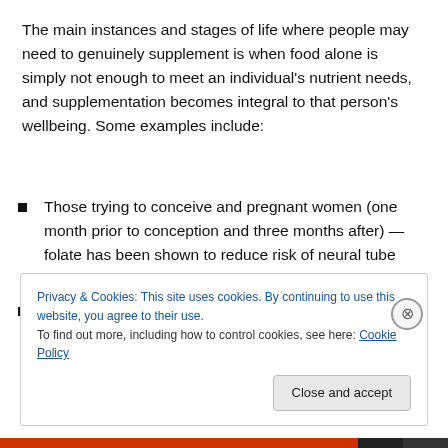The main instances and stages of life where people may need to genuinely supplement is when food alone is simply not enough to meet an individual's nutrient needs, and supplementation becomes integral to that person's wellbeing. Some examples include:
Those trying to conceive and pregnant women (one month prior to conception and three months after) — folate has been shown to reduce risk of neural tube defects.
People on a strict vegan or vegetarian diet, and elderly
Privacy & Cookies: This site uses cookies. By continuing to use this website, you agree to their use.
To find out more, including how to control cookies, see here: Cookie Policy